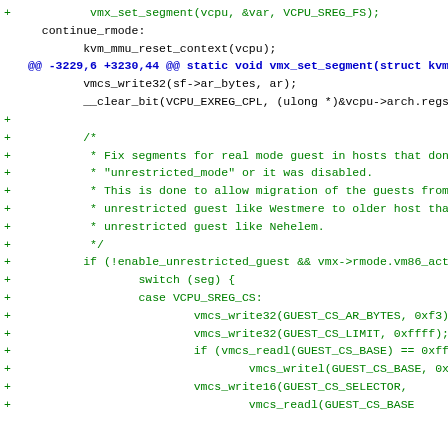Code diff showing vmx_set_segment and related kernel virtual machine (KVM) source code changes
+         vmx_set_segment(vcpu, &var, VCPU_SREG_FS);
continue_rmode:
kvm_mmu_reset_context(vcpu);
@@ -3229,6 +3230,44 @@ static void vmx_set_segment(struct kvm...
vmcs_write32(sf->ar_bytes, ar);
__clear_bit(VCPU_EXREG_CPL, (ulong *)&vcpu->arch.regs...
+
+        /*
+         * Fix segments for real mode guest in hosts that don...
+         * "unrestricted_mode" or it was disabled.
+         * This is done to allow migration of the guests from...
+         * unrestricted guest like Westmere to older host tha...
+         * unrestricted guest like Nehelem.
+         */
+        if (!enable_unrestricted_guest && vmx->rmode.vm86_act...
+                switch (seg) {
+                case VCPU_SREG_CS:
+                        vmcs_write32(GUEST_CS_AR_BYTES, 0xf3)...
+                        vmcs_write32(GUEST_CS_LIMIT, 0xffff);
+                        if (vmcs_readl(GUEST_CS_BASE) == 0xff...
+                                vmcs_writel(GUEST_CS_BASE, 0x...
+                        vmcs_write16(GUEST_CS_SELECTOR,
+                                vmcs_readl(GUEST_CS_BASE...